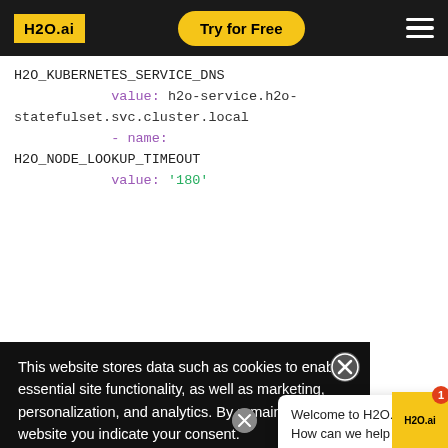[Figure (screenshot): H2O.ai website navigation bar with yellow logo, 'Try for Free' button, and hamburger menu on black background]
H2O_KUBERNETES_SERVICE_DNS
            value: h2o-service.h2o-statefulset.svc.cluster.local
            - name:
H2O_NODE_LOOKUP_TIMEOUT
            value: '180'
This website stores data such as cookies to enable essential site functionality, as well as marketing, personalization, and analytics. By remaining on this website you indicate your consent.
Privacy Poli
Welcome to H2O.ai! 🤖 How can we help you along your AI journey?
spec: